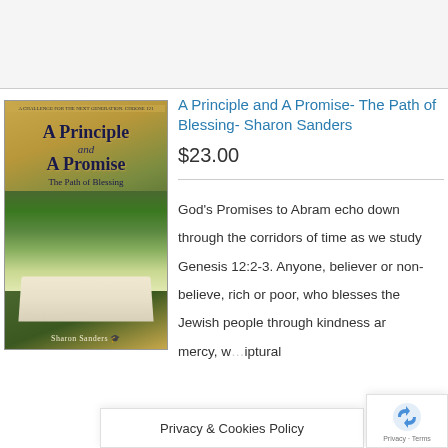[Figure (photo): Book cover of 'A Principle and A Promise - The Path of Blessing' by Sharon Sanders, showing landscape and open Bible imagery with gold and green tones]
A Principle and A Promise- The Path of Blessing- Sharon Sanders
$23.00
God's Promises to Abram echo down through the corridors of time as we study Genesis 12:2-3. Anyone, believer or non-believe, rich or poor, who blesses the Jewish people through kindness and mercy, w...iptural...
Privacy & Cookies Policy
[Figure (logo): Google reCAPTCHA badge with Privacy - Terms]